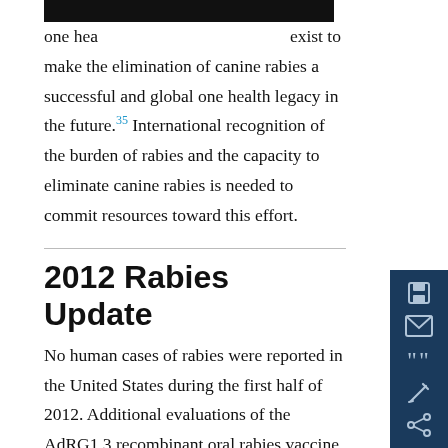one health [redacted] exist to make the elimination of canine rabies a successful and global one health legacy in the future.³⁵ International recognition of the burden of rabies and the capacity to eliminate canine rabies is needed to commit resources toward this effort.
2012 Rabies Update
No human cases of rabies were reported in the United States during the first half of 2012. Additional evaluations of the AdRG1.3 recombinant oral rabies vaccine are planned by the USDA Wildlife Services during oral rabies vaccination baiting campaigns targeting raccoons during the fall of 2012. These evaluations include comparisons of the West Virginia it...